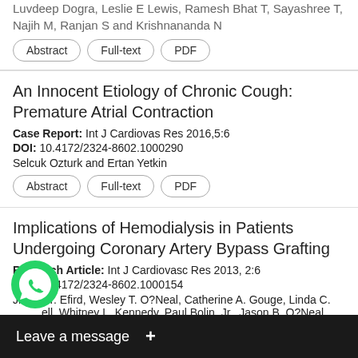Luvdeep Dogra, Leslie E Lewis, Ramesh Bhat T, Sayashree T, Najih M, Ranjan S and Krishnananda N
Abstract | Full-text | PDF
An Innocent Etiology of Chronic Cough: Premature Atrial Contraction
Case Report: Int J Cardiovas Res 2016,5:6
DOI: 10.4172/2324-8602.1000290
Selcuk Ozturk and Ertan Yetkin
Abstract | Full-text | PDF
Implications of Hemodialysis in Patients Undergoing Coronary Artery Bypass Grafting
Research Article: Int J Cardiovasc Res 2013, 2:6
DOI: 10.4172/2324-8602.1000154
Jimmy T. Efird, Wesley T. O?Neal, Catherine A. Gouge, Linda C. Mitchell, Whitney L. Kennedy, Paul Bolin, Jr., Jason B. O?Neal, A. Anderson, Evelio Rodriguez, T. Bruce Ferguson, W. Randolph Chitwood and W. Dalton Charrison
Abstract
[Figure (other): WhatsApp icon (green circle with phone handset) and a dark 'Leave a message +' bar overlay at the bottom of the page]